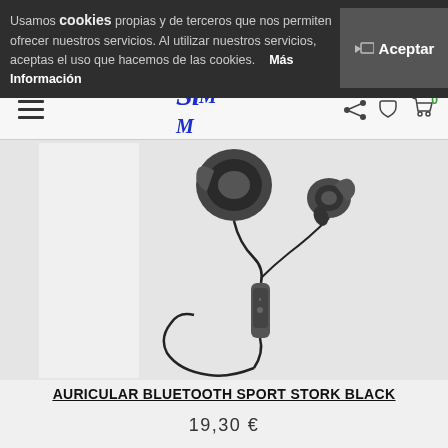Usamos cookies propias y de terceros que nos permiten ofrecer nuestros servicios. Al utilizar nuestros servicios, aceptas el uso que hacemos de las cookies.   Más Información   Aceptar
[Figure (logo): SiMM store logo and navigation bar with hamburger menu, share icon, phone icon, and shopping cart with 0 items]
[Figure (photo): Auricular Bluetooth sport earphones in black (STORK BLACK), wireless in-ear headphones with inline remote/microphone and cable loop]
AURICULAR BLUETOOTH SPORT STORK BLACK
19,30 €